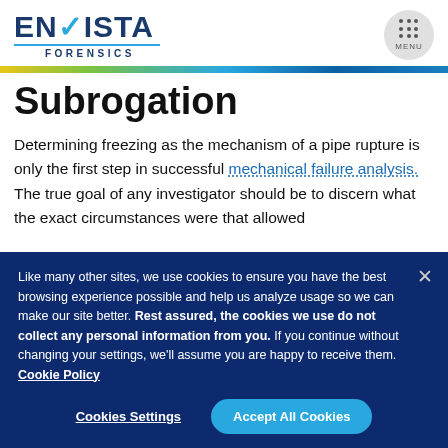[Figure (logo): Envista Forensics logo with blue text and teal checkmark, FORENSICS subtitle with teal underline]
Subrogation
Determining freezing as the mechanism of a pipe rupture is only the first step in successful mechanical failure analysis. The true goal of any investigator should be to discern what the exact circumstances were that allowed
Like many other sites, we use cookies to ensure you have the best browsing experience possible and help us analyze usage so we can make our site better. Rest assured, the cookies we use do not collect any personal information from you. If you continue without changing your settings, we'll assume you are happy to receive them. Cookie Policy
Cookies Settings | Accept All Cookies